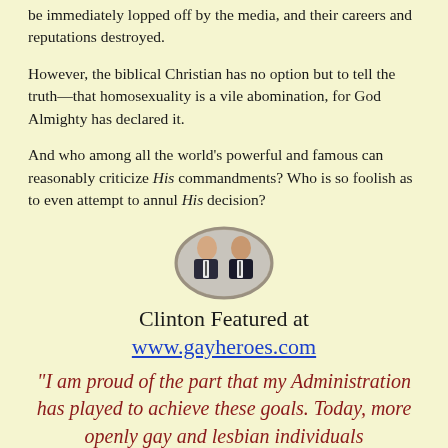be immediately lopped off by the media, and their careers and reputations destroyed.
However, the biblical Christian has no option but to tell the truth—that homosexuality is a vile abomination, for God Almighty has declared it.
And who among all the world's powerful and famous can reasonably criticize His commandments? Who is so foolish as to even attempt to annul His decision?
[Figure (photo): Oval-framed photo of two men in suits (Clinton era political figures)]
Clinton Featured at
www.gayheroes.com
"I am proud of the part that my Administration has played to achieve these goals. Today, more openly gay and lesbian individuals